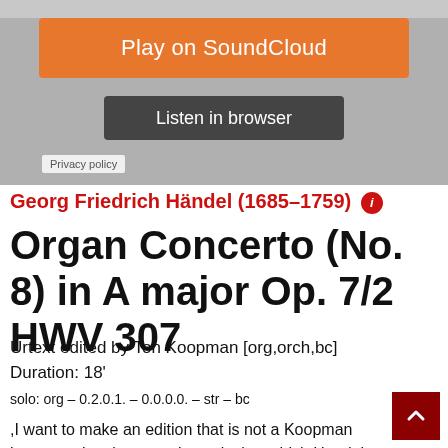[Figure (screenshot): SoundCloud embedded player widget with orange 'Play on SoundCloud' button and dark 'Listen in browser' button on gray background]
Privacy policy
Georg Friedrich Händel (1685–1759) ℹ
Organ Concerto (No. 8) in A major Op. 7/2 HWV 307
Urtext edited by Ton Koopman [org,orch,bc]
Duration: 18'
solo: org – 0.2.0.1. – 0.0.0.0. – str – bc
,I want to make an edition that is not a Koopman interpretation, but contains only that which Handel really wrote.' (Ton Koopman)